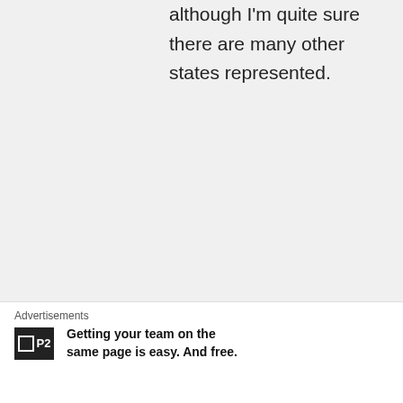although I'm quite sure there are many other states represented.
★ Liked by 1 person
↳ Reply
lovely on March
Advertisements
Getting your team on the same page is easy. And free.